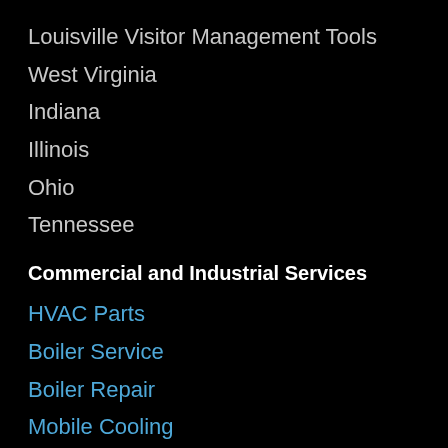Louisville Visitor Management Tools
West Virginia
Indiana
Illinois
Ohio
Tennessee
Commercial and Industrial Services
HVAC Parts
Boiler Service
Boiler Repair
Mobile Cooling
Air-Conditioning Rentals
Chiller Rentals
Chiller Rental
Chiller Repair
HVAC Equipment Rental